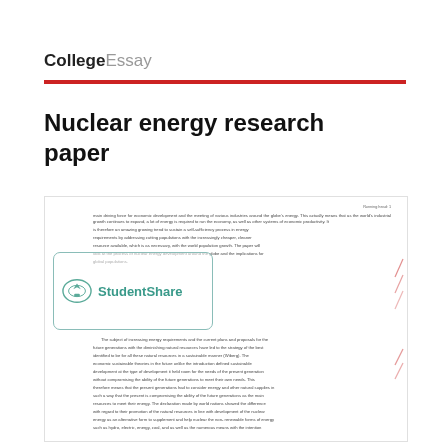CollegeEssay
Nuclear energy research paper
[Figure (screenshot): Preview thumbnail of a research paper document with StudentShare watermark overlay, showing small body text paragraphs about nuclear energy.]